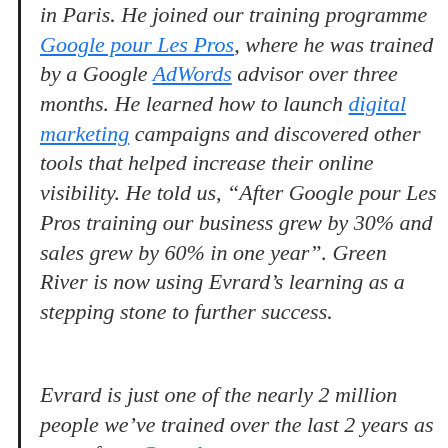in Paris. He joined our training programme Google pour Les Pros, where he was trained by a Google AdWords advisor over three months. He learned how to launch digital marketing campaigns and discovered other tools that helped increase their online visibility. He told us, “After Google pour Les Pros training our business grew by 30% and sales grew by 60% in one year”. Green River is now using Evrard’s learning as a stepping stone to further success.
Evrard is just one of the nearly 2 million people we’ve trained over the last 2 years as part of our Growth